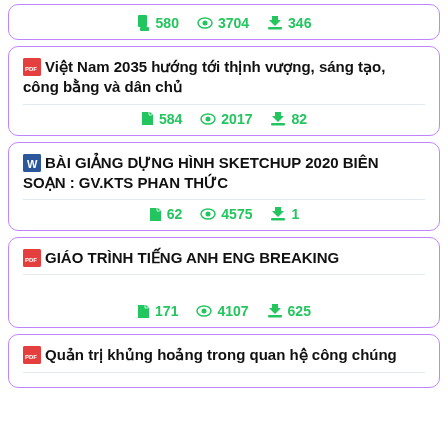580 views 3704 downloads 346
Việt Nam 2035 hướng tới thịnh vượng, sáng tạo, công bằng và dân chủ
584 views 2017 downloads 82
BÀI GIẢNG DỰNG HÌNH SKETCHUP 2020 BIÊN SOẠN : GV.KTS PHAN THỨC
62 views 4575 downloads 1
GIÁO TRÌNH TIẾNG ANH ENG BREAKING
171 views 4107 downloads 625
Quản trị khủng hoảng trong quan hệ công chúng